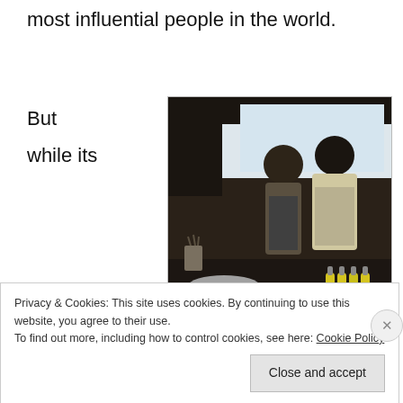most influential people in the world.
But
while its
[Figure (photo): Two chefs in aprons working in a professional kitchen with large stainless steel pots on a dark countertop, squeeze bottles, and bright window light in background.]
(c) Gustu/Luis Fernandez
Privacy & Cookies: This site uses cookies. By continuing to use this website, you agree to their use.
To find out more, including how to control cookies, see here: Cookie Policy
Close and accept